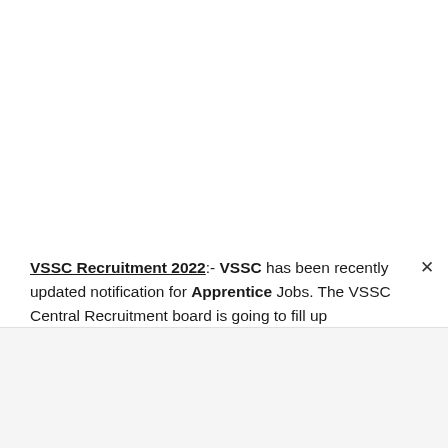VSSC Recruitment 2022:- VSSC has been recently updated notification for Apprentice Jobs. The VSSC Central Recruitment board is going to fill up